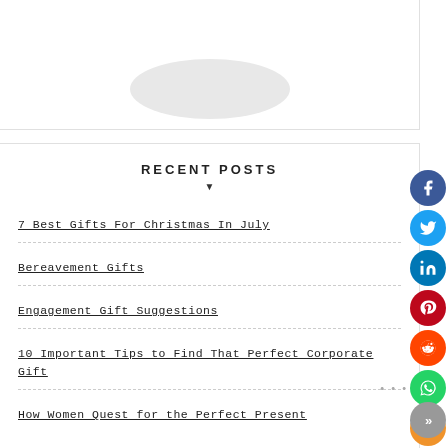[Figure (illustration): Partial circular/oval grey shape at the top, cropped — appears to be a profile image placeholder]
RECENT POSTS
7 Best Gifts For Christmas In July
Bereavement Gifts
Engagement Gift Suggestions
10 Important Tips to Find That Perfect Corporate Gift
How Women Quest for the Perfect Present